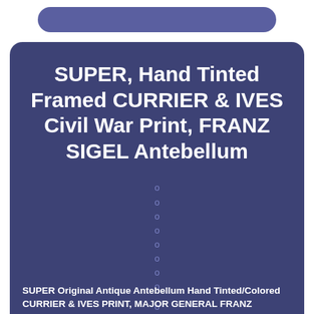SUPER, Hand Tinted Framed CURRIER & IVES Civil War Print, FRANZ SIGEL Antebellum
SUPER Original Antique Antebellum Hand Tinted/Colored CURRIER & IVES PRINT, MAJOR GENERAL FRANZ